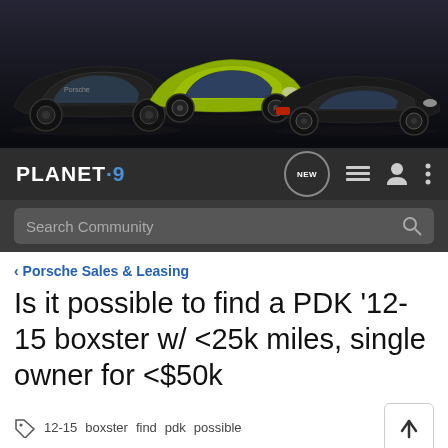[Figure (photo): Banner image showing three Porsche sports cars (black 911, green/yellow Cayman, black Boxster roadster) on a dark background]
PLANET·9  NEW  [menu] [user] [more]
Search Community
< Porsche Sales & Leasing
Is it possible to find a PDK '12-15 boxster w/ <25k miles, single owner for <$50k
12-15  boxster  find  pdk  possible
→ Jump to Latest
+ Follow